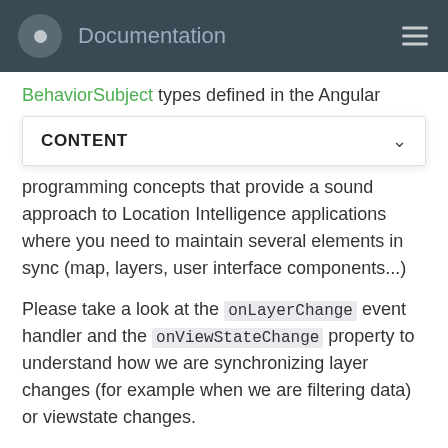Documentation
BehaviorSubject types defined in the Angular
CONTENT
programming concepts that provide a sound approach to Location Intelligence applications where you need to maintain several elements in sync (map, layers, user interface components...)
Please take a look at the onLayerChange event handler and the onViewStateChange property to understand how we are synchronizing layer changes (for example when we are filtering data) or viewstate changes.
Manage layer visibility